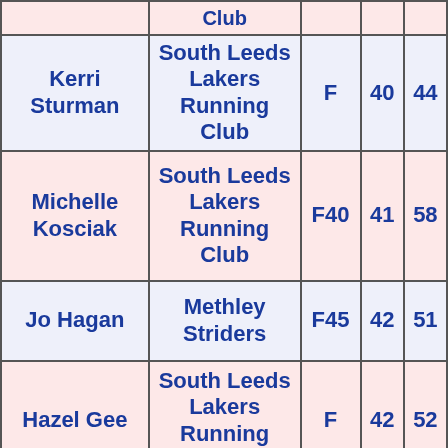| Name | Club | Category |  |  |
| --- | --- | --- | --- | --- |
| Kerri Sturman | South Leeds Lakers Running Club | F | 40 | 44 |
| Michelle Kosciak | South Leeds Lakers Running Club | F40 | 41 | 58 |
| Jo Hagan | Methley Striders | F45 | 42 | 51 |
| Hazel Gee | South Leeds Lakers Running Club | F | 42 | 52 |
| Penny Andrews | Unattached | F35 | 45 | 25 |